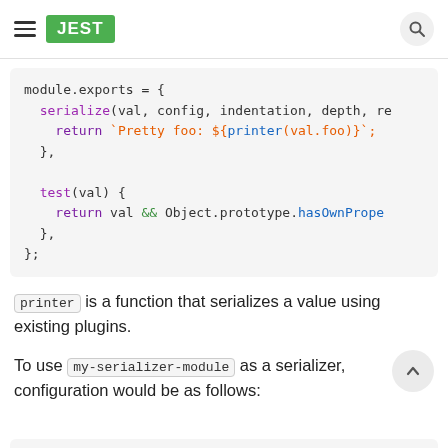JEST
[Figure (screenshot): Code block showing module.exports with serialize and test methods in JavaScript syntax highlighting]
printer is a function that serializes a value using existing plugins.
To use my-serializer-module as a serializer, configuration would be as follows:
[Figure (screenshot): Partial code block at bottom of page]